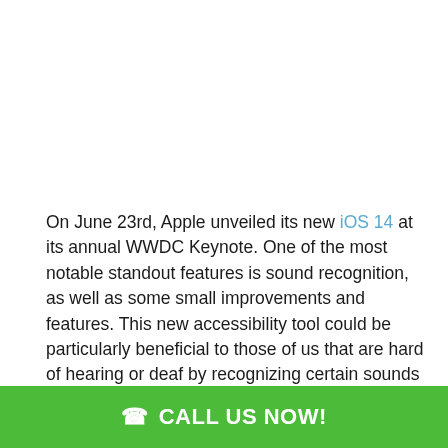On June 23rd, Apple unveiled its new iOS 14 at its annual WWDC Keynote. One of the most notable standout features is sound recognition, as well as some small improvements and features. This new accessibility tool could be particularly beneficial to those of us that are hard of hearing or deaf by recognizing certain sounds and notifying the user via prompts and notifications on the screen.
These sounds include a door knock, doorbell, sirens,
CALL US NOW!